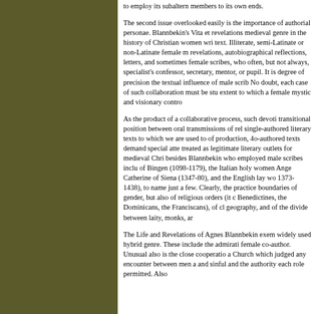to employ its subaltern members to its own ends. The second issue overlooked easily is the importance of authorial personae. Blannbekin's Vita et revelations medieval genre in the history of Christian women wri text. Illiterate, semi-Latinate or non-Latinate female m revelations, autobiographical reflections, letters, and sometimes female scribes, who often, but not always, specialist's confessor, secretary, mentor, or pupil. It is degree of precision the textual influence of male scrib No doubt, each case of such collaboration must be stu extent to which a female mystic and visionary contro As the product of a collaborative process, such devoti transitional position between oral transmissions of re single-authored literary texts to which we are used to of production, 4o-authored texts demand special atte treated as legitimate literary outlets for medieval Chr besides Blannbekin who employed male scribes inclu of Bingen (1098-1179), the Italian holy women Ange Catherine of Siena (1347-80), and the English lay wo 1373-1438), to name just a few. Clearly, the practice boundaries of gender, but also of religious orders (it c Benedictines, the Dominicans, the Franciscans), of c geography, and of the divide between laity, monks, ar The Life and Revelations of Agnes Blannbekin exem widely used hybrid genre. These include the admirati female co-author. Unusual also is the close cooperati a Church which judged any encounter between men a and sinful and the authority each role permitted. Also